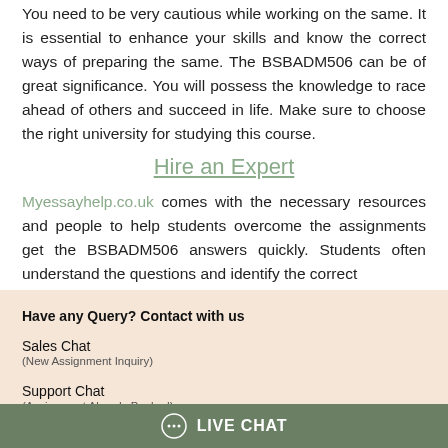You need to be very cautious while working on the same. It is essential to enhance your skills and know the correct ways of preparing the same. The BSBADM506 can be of great significance. You will possess the knowledge to race ahead of others and succeed in life. Make sure to choose the right university for studying this course.
Hire an Expert
Myessayhelp.co.uk comes with the necessary resources and people to help students overcome the assignments get the BSBADM506 answers quickly. Students often understand the questions and identify the correct
Have any Query? Contact with us
Sales Chat
(New Assignment Inquiry)
Support Chat
(Assignment Already Booked)
LIVE CHAT